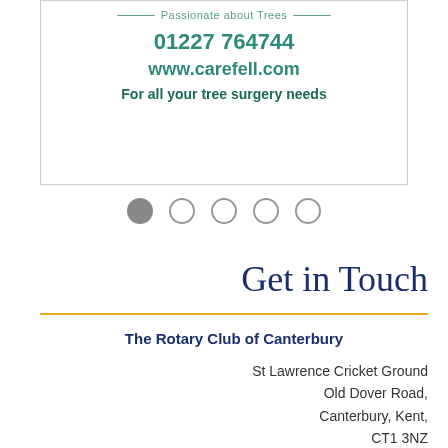[Figure (other): Advertisement box for Carefell tree surgery company showing tagline 'Passionate about Trees', phone number 01227 764744, website www.carefell.com, and slogan 'For all your tree surgery needs']
[Figure (other): Pagination dots: 5 circles, the first one filled grey, the remaining four are empty/outlined]
Get in Touch
The Rotary Club of Canterbury
St Lawrence Cricket Ground
Old Dover Road,
Canterbury, Kent,
CT1 3NZ